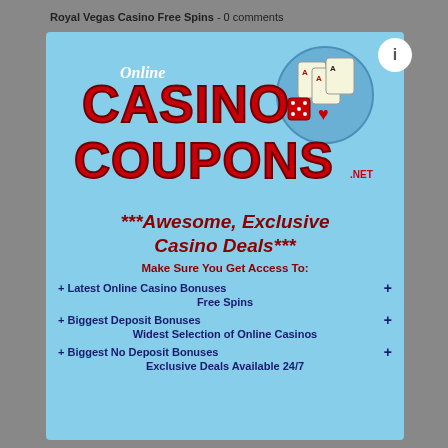Royal Vegas Casino Free Spins - 0 comments
[Figure (logo): Online Casino Coupons logo with red text on light blue background, featuring playing cards and dice imagery]
***Awesome, Exclusive Casino Deals***
Make Sure You Get Access To:
+ Latest Online Casino Bonuses +
Free Spins
+ Biggest Deposit Bonuses +
Widest Selection of Online Casinos
+ Biggest No Deposit Bonuses +
Exclusive Deals Available 24/7